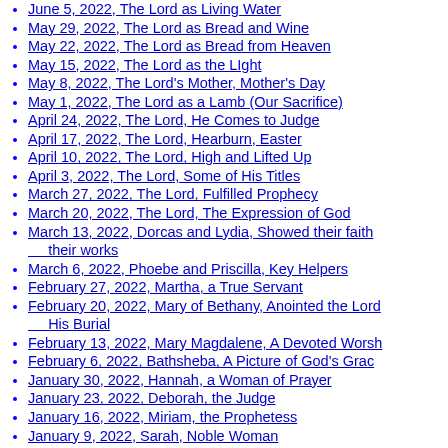June 5, 2022, The Lord as Living Water
May 29, 2022, The Lord as Bread and Wine
May 22, 2022, The Lord as Bread from Heaven
May 15, 2022, The Lord as the LIght
May 8, 2022, The Lord's Mother, Mother's Day
May 1, 2022, The Lord as a Lamb (Our Sacrifice)
April 24, 2022, The Lord, He Comes to Judge
April 17, 2022, The Lord, Hearburn, Easter
April 10, 2022, The Lord, High and Lifted Up
April 3, 2022, The Lord, Some of His Titles
March 27, 2022, The Lord, Fulfilled Prophecy
March 20, 2022, The Lord, The Expression of God
March 13, 2022, Dorcas and Lydia, Showed their faith their works
March 6, 2022, Phoebe and Priscilla, Key Helpers
February 27, 2022, Martha, a True Servant
February 20, 2022, Mary of Bethany, Anointed the Lord His Burial
February 13, 2022, Mary Magdalene, A Devoted Worshipper
February 6, 2022, Bathsheba, A Picture of God's Grace
January 30, 2022, Hannah, a Woman of Prayer
January 23, 2022, Deborah, the Judge
January 16, 2022, Miriam, the Prophetess
January 9, 2022, Sarah, Noble Woman
January 2, 2022, Eve, First Mother